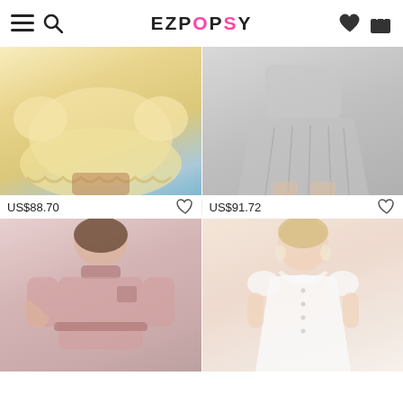EZPOPSY
[Figure (photo): Woman wearing a yellow eyelet lace mini dress with balloon sleeves and scalloped hem, at a beach. Price: US$88.70]
[Figure (photo): Woman wearing a gray gingham/plaid pleated mini dress with short sleeves. Price: US$91.72]
[Figure (photo): Woman in a pink lace long sleeve collared mini dress with velvet collar and pocket trim.]
[Figure (photo): Blonde woman in a white puff sleeve button-front A-line dress with earrings.]